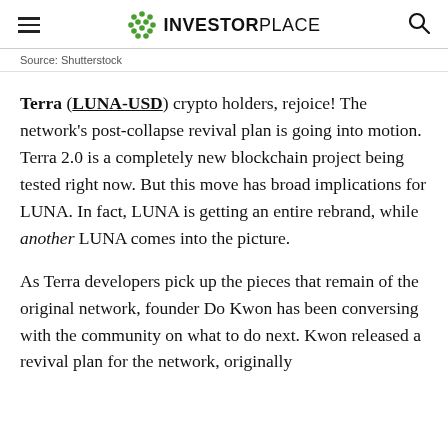INVESTORPLACE
Source: Shutterstock
Terra (LUNA-USD) crypto holders, rejoice! The network's post-collapse revival plan is going into motion. Terra 2.0 is a completely new blockchain project being tested right now. But this move has broad implications for LUNA. In fact, LUNA is getting an entire rebrand, while another LUNA comes into the picture.
As Terra developers pick up the pieces that remain of the original network, founder Do Kwon has been conversing with the community on what to do next. Kwon released a revival plan for the network, originally